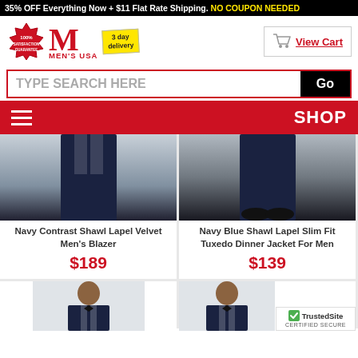35% OFF Everything Now + $11 Flat Rate Shipping. NO COUPON NEEDED
[Figure (logo): Men's USA logo with 100% satisfaction guarantee badge, large red M, MEN'S USA text, 3 day delivery tag]
[Figure (other): Shopping cart icon with View Cart link]
TYPE SEARCH HERE
Go
SHOP
[Figure (photo): Navy Contrast Shawl Lapel Velvet Men's Blazer product photo]
Navy Contrast Shawl Lapel Velvet Men's Blazer
$189
[Figure (photo): Navy Blue Shawl Lapel Slim Fit Tuxedo Dinner Jacket For Men product photo]
Navy Blue Shawl Lapel Slim Fit Tuxedo Dinner Jacket For Men
$139
[Figure (photo): Bottom row product photo left - partially visible men's suit]
[Figure (photo): Bottom row product photo right - partially visible men's suit with TrustedSite Certified Secure badge]